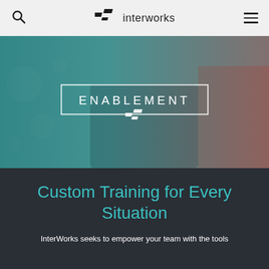interworks navigation bar with search and menu icons
[Figure (screenshot): Hero banner image showing people reading/studying, with a teal-to-red gradient overlay. Contains the word ENABLEMENT in a white rectangular border, with the InterWorks logo mark below it.]
Custom Training for Every Situation
InterWorks seeks to empower your team with the tools